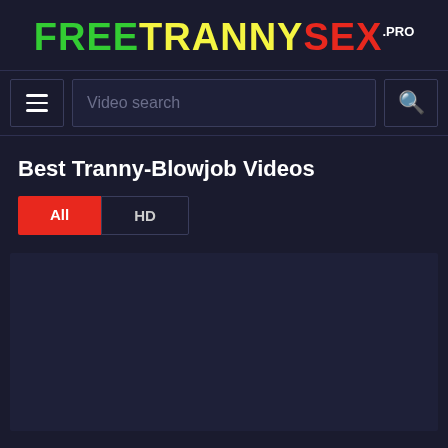FREETRANNYSEX.PRO
Video search
Best Tranny-Blowjob Videos
All
HD
[Figure (other): Dark empty video thumbnail area]